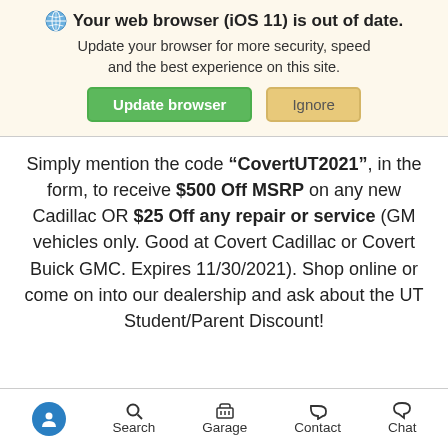Your web browser (iOS 11) is out of date. Update your browser for more security, speed and the best experience on this site.
Update browser | Ignore
Simply mention the code “CovertUT2021”, in the form, to receive $500 Off MSRP on any new Cadillac OR $25 Off any repair or service (GM vehicles only. Good at Covert Cadillac or Covert Buick GMC. Expires 11/30/2021). Shop online or come on into our dealership and ask about the UT Student/Parent Discount!
Search | Garage | Contact | Chat